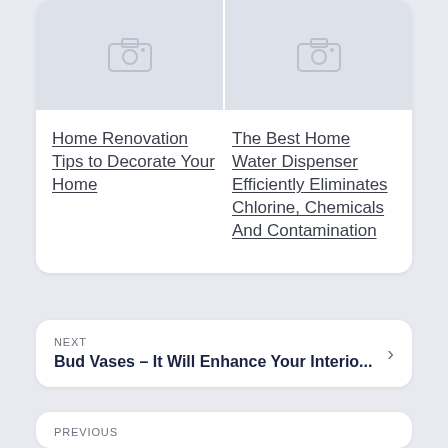[Figure (photo): Placeholder image thumbnail with camera icon, left column]
[Figure (photo): Placeholder image thumbnail with camera icon, right column]
Home Renovation Tips to Decorate Your Home
The Best Home Water Dispenser Efficiently Eliminates Chlorine, Chemicals And Contamination
NEXT
Bud Vases – It Will Enhance Your Interio...
PREVIOUS